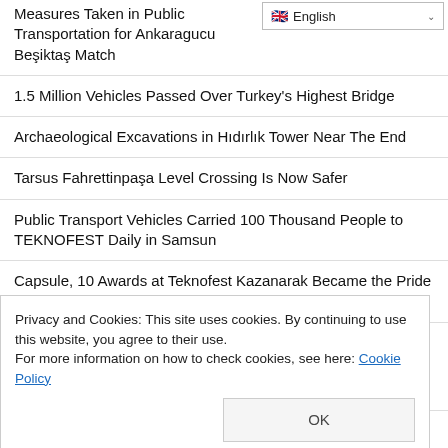Measures Taken in Public Transportation for Ankaragucu Beşiktaş Match
1.5 Million Vehicles Passed Over Turkey's Highest Bridge
Archaeological Excavations in Hıdırlık Tower Near The End
Tarsus Fahrettinpaşa Level Crossing Is Now Safer
Public Transport Vehicles Carried 100 Thousand People to TEKNOFEST Daily in Samsun
Capsule, 10 Awards at Teknofest Kazanarak Became the Pride of Konya
A New Integration Training Program Will Be Applied to
Privacy and Cookies: This site uses cookies. By continuing to use this website, you agree to their use.
For more information on how to check cookies, see here: Cookie Policy
Fish Stocks in the Seas Are Tracked by Research Ships